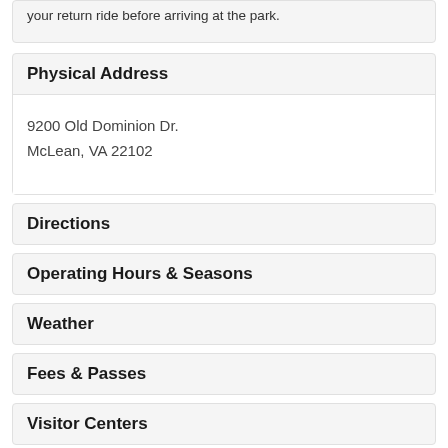your return ride before arriving at the park.
Physical Address
9200 Old Dominion Dr.
McLean, VA 22102
Directions
Operating Hours & Seasons
Weather
Fees & Passes
Visitor Centers